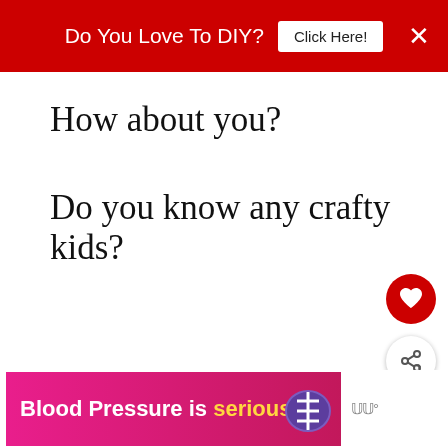Do You Love To DIY?  Click Here!  ×
How about you?
Do you know any crafty kids?
[Figure (infographic): Heart favorite button (dark red circle with white heart icon) and share button (white circle with share icon)]
[Figure (infographic): WHAT'S NEXT → Jamberry Nails... with thumbnail image of nails]
[Figure (infographic): Advertisement banner: Blood Pressure is serious with purple heart icon and brand logo]